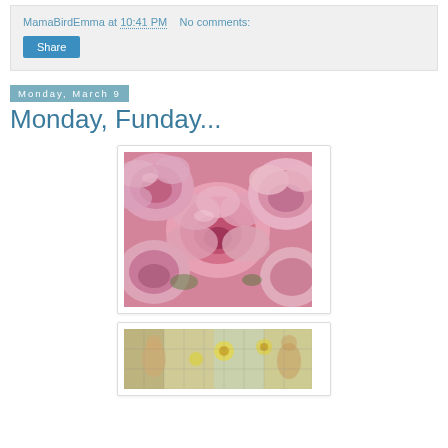MamaBirdEmma at 10:41 PM   No comments:
Share
Monday, March 9
Monday, Funday...
[Figure (photo): Close-up photo of several pink roses in bloom, filling the frame.]
[Figure (photo): Partial view of a jigsaw puzzle image showing a scene with yellow flowers and figures.]